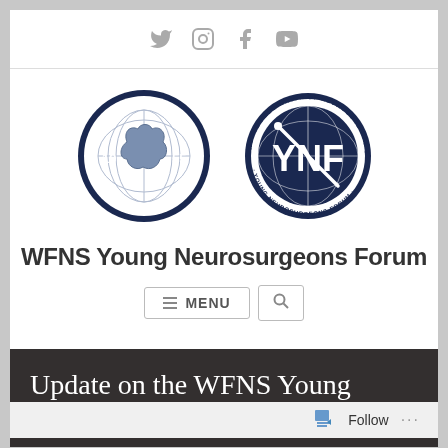Social icons: Twitter, Instagram, Facebook, YouTube
[Figure (logo): Two circular logos side by side: left is the World Federation of Neurosurgical Societies seal (dark navy, brain on globe, 1955); right is the WFNS Young Neurosurgeons Forum logo (dark navy, YNF initials on globe with surgical instrument)]
WFNS Young Neurosurgeons Forum
≡ MENU 🔍
Update on the WFNS Young Neurosurgeons Forum